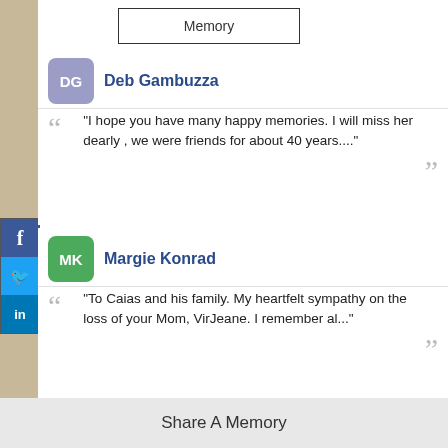Memory
[Figure (other): Social media sharing buttons: Facebook (f), Twitter (bird), LinkedIn (in)]
Deb Gambuzza
"I hope you have many happy memories. I will miss her dearly , we were friends for about 40 years...."
Margie Konrad
"To Caias and his family. My heartfelt sympathy on the loss of your Mom, VirJeane. I remember al..."
Patricia Walsh
Share A Memory